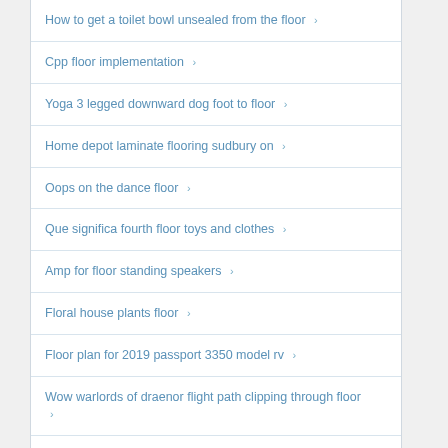How to get a toilet bowl unsealed from the floor
Cpp floor implementation
Yoga 3 legged downward dog foot to floor
Home depot laminate flooring sudbury on
Oops on the dance floor
Que significa fourth floor toys and clothes
Amp for floor standing speakers
Floral house plants floor
Floor plan for 2019 passport 3350 model rv
Wow warlords of draenor flight path clipping through floor
Footprints to put on floor